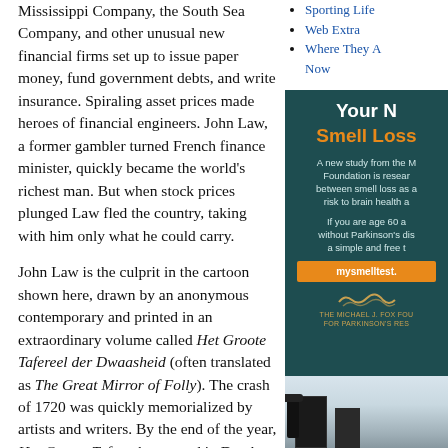Mississippi Company, the South Sea Company, and other unusual new financial firms set up to issue paper money, fund government debts, and write insurance. Spiraling asset prices made heroes of financial engineers. John Law, a former gambler turned French finance minister, quickly became the world's richest man. But when stock prices plunged Law fled the country, taking with him only what he could carry.
Sporting Life
Web Extra
Where They Are Now
[Figure (infographic): Dark teal advertisement panel for 'Your N[ose] Smell Loss' - Michael J. Fox Foundation for Parkinson's Research. Orange heading about smell loss, body text about a study, orange button labeled mysmelltest., and foundation logo with wave motif.]
John Law is the culprit in the cartoon shown here, drawn by an anonymous contemporary and printed in an extraordinary volume called Het Groote Tafereel der Dwaasheid (often translated as The Great Mirror of Folly). The crash of 1720 was quickly memorialized by artists and writers. By the end of the year, Het Groote Tafereel appeared in Dutch bookshops—an anonymous multimedia extravaganza, filled with dozens of allegorical prints, plays, and poems about the crash, as well as financial documents about the Dutch Provinces' own bubble companies.
The book was a first, brilliant attempt by cultural critics to make sense of the wild
[Figure (photo): Partial view of an interior scene through a window, with a dark lamp and building/cityscape visible.]